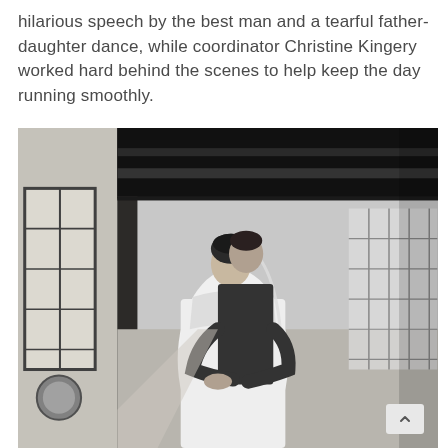hilarious speech by the best man and a tearful father-daughter dance, while coordinator Christine Kingery worked hard behind the scenes to help keep the day running smoothly.
[Figure (photo): Black and white wedding photo of a bride and groom embracing in a corridor or hallway with large windows and exposed dark wooden ceiling beams. The bride is in a strapless dress and the groom stands behind her.]